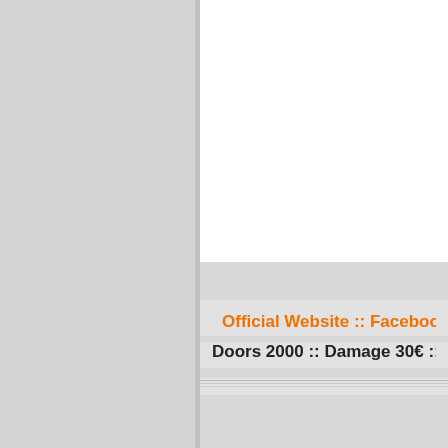Official Website :: Facebook Link :: Y...
Doors 2000 :: Damage 30€ :: VVK Li...
Bass Bass Bass Live :: Lee Ber...